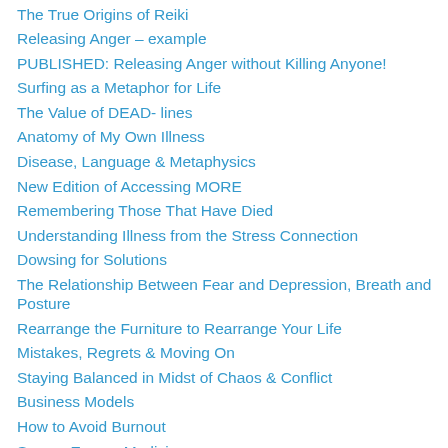The True Origins of Reiki
Releasing Anger – example
PUBLISHED: Releasing Anger without Killing Anyone!
Surfing as a Metaphor for Life
The Value of DEAD- lines
Anatomy of My Own Illness
Disease, Language & Metaphysics
New Edition of Accessing MORE
Remembering Those That Have Died
Understanding Illness from the Stress Connection
Dowsing for Solutions
The Relationship Between Fear and Depression, Breath and Posture
Rearrange the Furniture to Rearrange Your Life
Mistakes, Regrets & Moving On
Staying Balanced in Midst of Chaos & Conflict
Business Models
How to Avoid Burnout
Source Energy Medicine
Lessons Learned from Almost Dying
How Self Hypnosis Saved My Life!